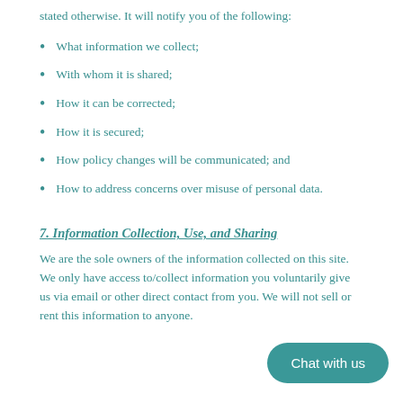stated otherwise. It will notify you of the following:
What information we collect;
With whom it is shared;
How it can be corrected;
How it is secured;
How policy changes will be communicated; and
How to address concerns over misuse of personal data.
7. Information Collection, Use, and Sharing
We are the sole owners of the information collected on this site. We only have access to/collect information you voluntarily give us via email or other direct contact from you. We will not sell or rent this information to anyone.